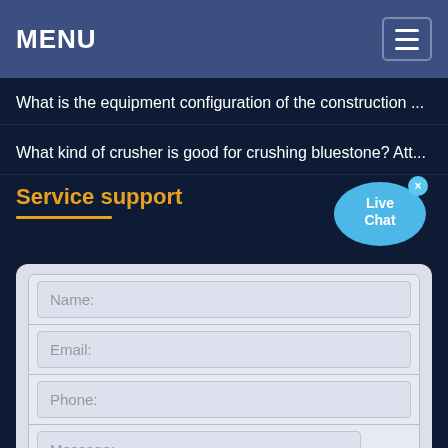MENU
What is the equipment configuration of the construction ...
What kind of crusher is good for crushing bluestone? Att...
Service support
[Figure (screenshot): Live Chat speech bubble widget with close X button]
Name:
Email:
Phone:
Message: